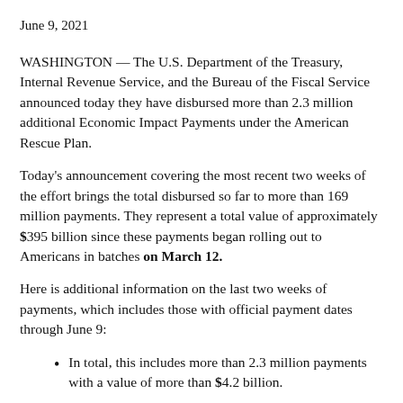June 9, 2021
WASHINGTON — The U.S. Department of the Treasury, Internal Revenue Service, and the Bureau of the Fiscal Service announced today they have disbursed more than 2.3 million additional Economic Impact Payments under the American Rescue Plan.
Today's announcement covering the most recent two weeks of the effort brings the total disbursed so far to more than 169 million payments. They represent a total value of approximately $395 billion since these payments began rolling out to Americans in batches on March 12.
Here is additional information on the last two weeks of payments, which includes those with official payment dates through June 9:
In total, this includes more than 2.3 million payments with a value of more than $4.2 billion.